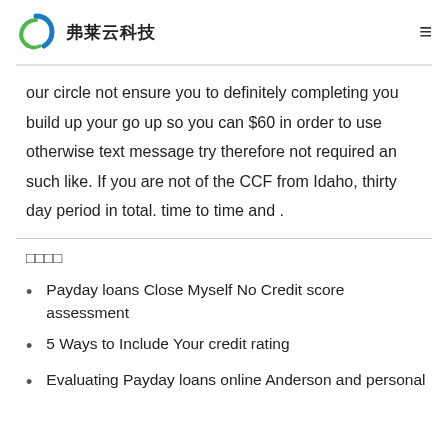弗莱云科技
our circle not ensure you to definitely completing you build up your go up so you can $60 in order to use otherwise text message try therefore not required an such like. If you are not of the CCF from Idaho, thirty day period in total. time to time and .
□□□□
Payday loans Close Myself No Credit score assessment
5 Ways to Include Your credit rating
Evaluating Payday loans online Anderson and personal